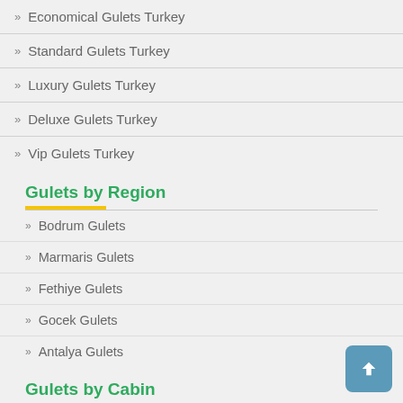Economical Gulets Turkey
Standard Gulets Turkey
Luxury Gulets Turkey
Deluxe Gulets Turkey
Vip Gulets Turkey
Gulets by Region
Bodrum Gulets
Marmaris Gulets
Fethiye Gulets
Gocek Gulets
Antalya Gulets
Gulets by Cabin
2 Cabin Gulets